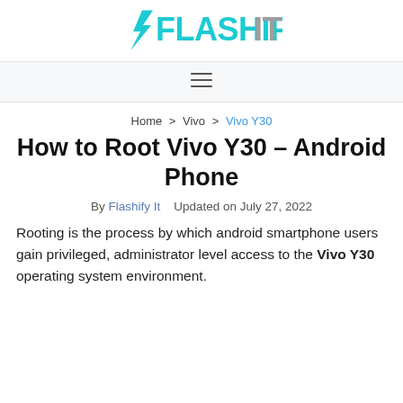FLASHIFY IT
[Figure (logo): Flashify IT logo with lightning bolt icon, teal and gray text]
Navigation menu icon (hamburger)
Home > Vivo > Vivo Y30
How to Root Vivo Y30 – Android Phone
By Flashify It   Updated on July 27, 2022
Rooting is the process by which android smartphone users gain privileged, administrator level access to the Vivo Y30 operating system environment.